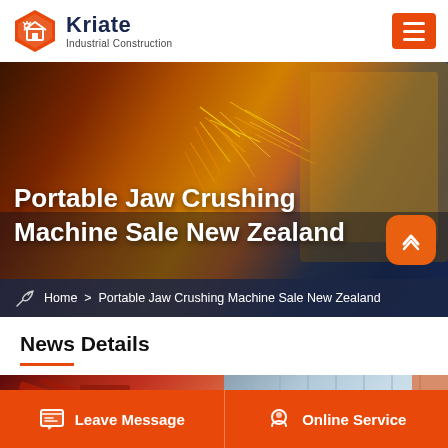Kriate Industrial Construction
Portable Jaw Crushing Machine Sale New Zealand
Home > Portable Jaw Crushing Machine Sale New Zealand
News Details
[Figure (photo): Industrial construction hero banner with sparks and welding imagery]
[Figure (photo): Industrial facility photo collage at the bottom of the news section]
Leave Message   Online Service